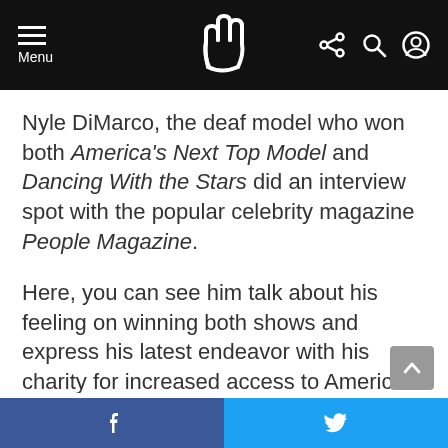Menu [navigation bar with hamburger menu, ASL hand logo, share/search/profile icons]
Nyle DiMarco, the deaf model who won both America's Next Top Model and Dancing With the Stars did an interview spot with the popular celebrity magazine People Magazine.
Here, you can see him talk about his feeling on winning both shows and express his latest endeavor with his charity for increased access to American Sign Language and early education for deaf children. DiMarco is currently the celebrity champion for awareness of ASL options for deaf children and to
[Facebook share button] [Twitter share button]